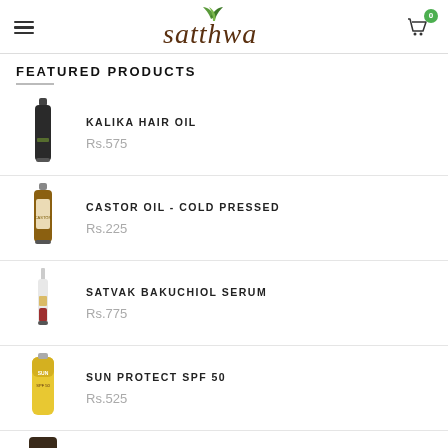satthwa — navigation header with hamburger menu and cart icon (0 items)
FEATURED PRODUCTS
KALIKA HAIR OIL — Rs.575
CASTOR OIL - COLD PRESSED — Rs.225
SATVAK BAKUCHIOL SERUM — Rs.775
SUN PROTECT SPF 50 — Rs.525
ARGAN OIL SHAMPOO — (price not visible)